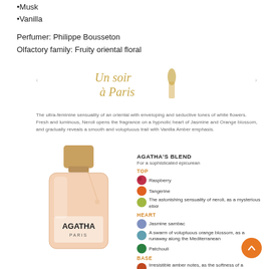•Musk
•Vanilla
Perfumer: Philippe Bousseton
Olfactory family: Fruity oriental floral
[Figure (photo): Un soir à Paris brand illustration with perfume bottle silhouette and text in gold italic]
The ultra-feminine sensuality of an oriental with enveloping and seductive tones of white flowers.
Fresh and luminous, Neroli opens the fragrance on a hypnotic heart of Jasmine and Orange blossom, and gradually reveals a smooth and voluptuous trail with Vanilla Amber emphasis.
[Figure (photo): AGATHA Paris perfume bottle - Un soir à Paris, peach/nude colored glass with gold cap]
AGATHA'S BLEND
For a sophisticated epicurean
TOP
Raspberry
Tangerine
The astonishing sensuality of neroli, as a mysterious elixir
HEART
Jasmine sambac
A swarm of voluptuous orange blossom, as a runaway along the Mediterranean
Patchouli
BASE
Irresistible amber notes, as the softness of a